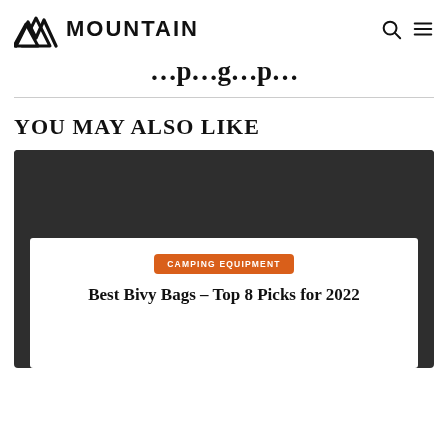MOUNTAIN
…p…g…p…
YOU MAY ALSO LIKE
[Figure (screenshot): Article card with dark background showing category badge 'CAMPING EQUIPMENT' in orange and article title 'Best Bivy Bags – Top 8 Picks for 2022']
CAMPING EQUIPMENT
Best Bivy Bags – Top 8 Picks for 2022